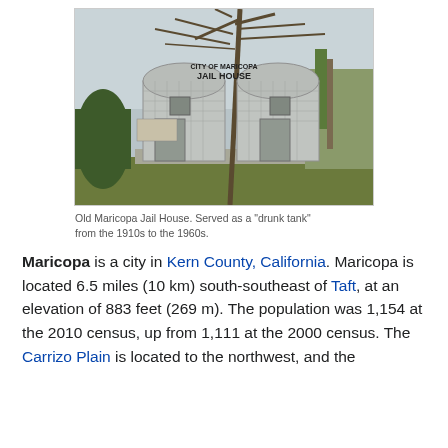[Figure (photo): Old Maricopa Jail House — a metal Quonset-style structure with 'CITY OF MARICOPA JAIL HOUSE' written on it, surrounded by a tree and grass.]
Old Maricopa Jail House. Served as a "drunk tank" from the 1910s to the 1960s.
Maricopa is a city in Kern County, California. Maricopa is located 6.5 miles (10 km) south-southeast of Taft, at an elevation of 883 feet (269 m). The population was 1,154 at the 2010 census, up from 1,111 at the 2000 census. The Carrizo Plain is located to the northwest, and the